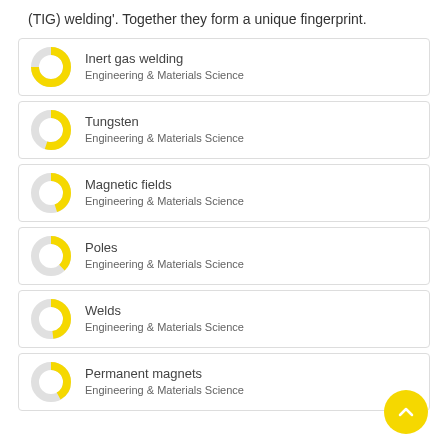(TIG) welding'. Together they form a unique fingerprint.
Inert gas welding — Engineering & Materials Science
Tungsten — Engineering & Materials Science
Magnetic fields — Engineering & Materials Science
Poles — Engineering & Materials Science
Welds — Engineering & Materials Science
Permanent magnets — Engineering & Materials Science